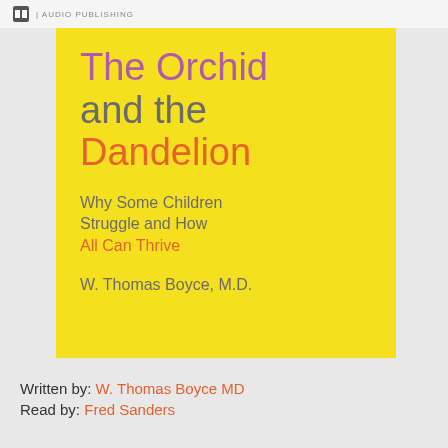AUDIO PUBLISHING
[Figure (illustration): Book cover for 'The Orchid and the Dandelion' audiobook on a yellow background with publisher logo at top]
The Orchid and the Dandelion
Why Some Children Struggle and How All Can Thrive
W. Thomas Boyce, M.D.
Written by: W. Thomas Boyce MD
Read by: Fred Sanders